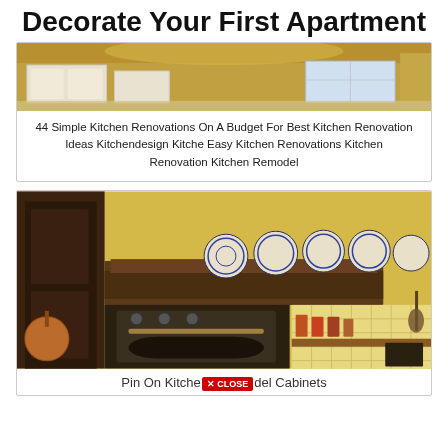Decorate Your First Apartment
[Figure (photo): Kitchen interior photo showing white upper cabinets, warm golden ceiling, and a window with natural light — simple modern kitchen renovation.]
44 Simple Kitchen Renovations On A Budget For Best Kitchen Renovation Ideas Kitchendesign Kitche Easy Kitchen Renovations Kitchen Renovation Kitchen Remodel
[Figure (photo): Rustic kitchen interior with dark wood hood, decorative blue-and-white plates mounted above range hood, stainless oven, yellow tiled backsplash, hanging copper pots, and spice canisters on a wooden shelf.]
Pin On Kitchen Remodel Cabinets